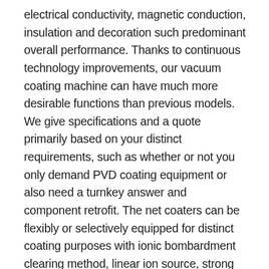electrical conductivity, magnetic conduction, insulation and decoration such predominant overall performance. Thanks to continuous technology improvements, our vacuum coating machine can have much more desirable functions than previous models. We give specifications and a quote primarily based on your distinct requirements, such as whether or not you only demand PVD coating equipment or also need a turnkey answer and component retrofit. The net coaters can be flexibly or selectively equipped for distinct coating purposes with ionic bombardment clearing method, linear ion source, strong E-beam gun, sputtering energy supply and cathodes and PECVD device, etc in order to strengthen its functions. Thanks to the optimization of the processes and the double doors system, it is a perfect machine for the simultaneous loading and unloading of the pieces, Kolzer® machines series MK® assure higher efficiency, quick cycle time processes and higher production volumes, best to integrate into the OEM production lines. Thermal spray coatings are typically line-of-sight